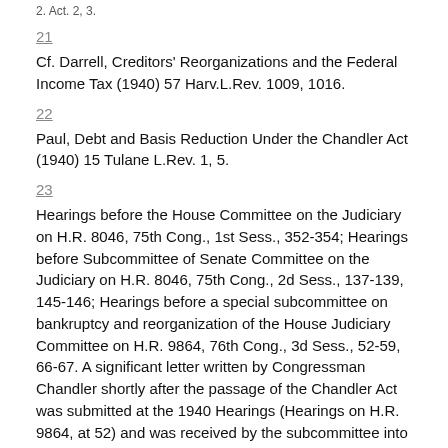21
Cf. Darrell, Creditors' Reorganizations and the Federal Income Tax (1940) 57 Harv.L.Rev. 1009, 1016.
22
Paul, Debt and Basis Reduction Under the Chandler Act (1940) 15 Tulane L.Rev. 1, 5.
23
Hearings before the House Committee on the Judiciary on H.R. 8046, 75th Cong., 1st Sess., 352-354; Hearings before Subcommittee of Senate Committee on the Judiciary on H.R. 8046, 75th Cong., 2d Sess., 137-139, 145-146; Hearings before a special subcommittee on bankruptcy and reorganization of the House Judiciary Committee on H.R. 9864, 76th Cong., 3d Sess., 52-59, 66-67. A significant letter written by Congressman Chandler shortly after the passage of the Chandler Act was submitted at the 1940 Hearings (Hearings on H.R. 9864, at 52) and was received by the subcommittee into the record. For